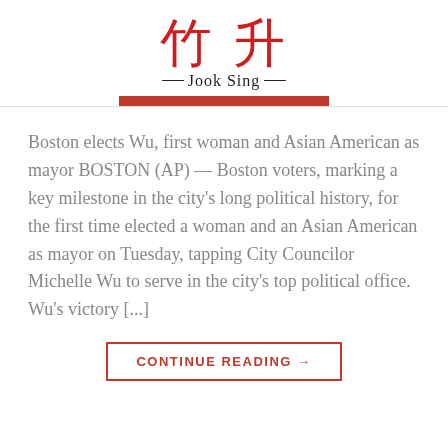竹升 Jook Sing
Boston elects Wu, first woman and Asian American as mayor BOSTON (AP) — Boston voters, marking a key milestone in the city's long political history, for the first time elected a woman and an Asian American as mayor on Tuesday, tapping City Councilor Michelle Wu to serve in the city's top political office. Wu's victory [...]
CONTINUE READING →